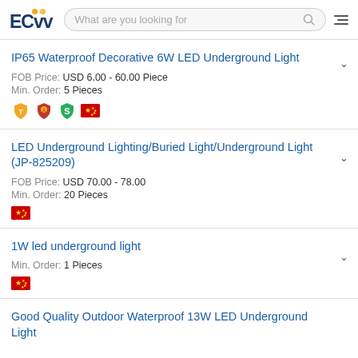ECVV — What are you looking for
IP65 Waterproof Decorative 6W LED Underground Light
FOB Price: USD 6.00 - 60.00 Piece
Min. Order: 5 Pieces
LED Underground Lighting/Buried Light/Underground Light (JP-825209)
FOB Price: USD 70.00 - 78.00
Min. Order: 20 Pieces
1W led underground light
Min. Order: 1 Pieces
Good Quality Outdoor Waterproof 13W LED Underground Light